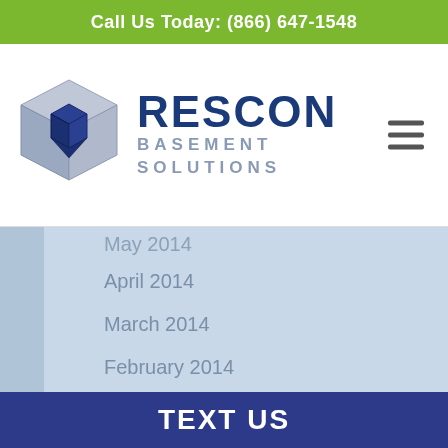Call Us Today: (866) 647-1548
[Figure (logo): Rescon Basement Solutions logo with cube icon and company name]
May 2014
April 2014
March 2014
February 2014
January 2014
June 2013
May 2013
December 2012
November 2012
October 2012
TEXT US